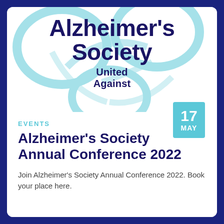[Figure (logo): Alzheimer's Society logo with blue swirl/forget-me-not graphic and text 'Alzheimer's Society United Against']
EVENTS
Alzheimer's Society Annual Conference 2022
Join Alzheimer's Society Annual Conference 2022. Book your place here.